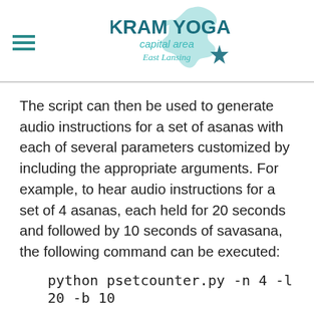[Figure (logo): Bikram Yoga Capital Area East Lansing logo with Michigan state outline and teal star]
The script can then be used to generate audio instructions for a set of asanas with each of several parameters customized by including the appropriate arguments. For example, to hear audio instructions for a set of 4 asanas, each held for 20 seconds and followed by 10 seconds of savasana, the following command can be executed:
Audio instructions for multiple sets with